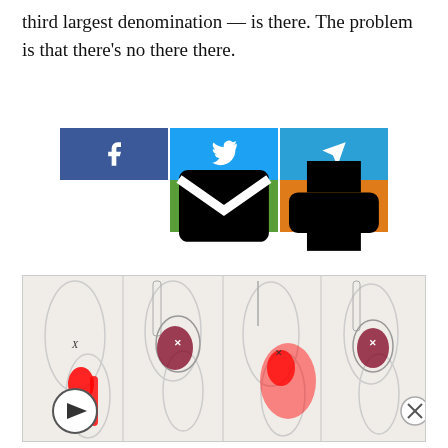third largest denomination — is there. The problem is that there's no there there.
[Figure (screenshot): Social media share buttons: Facebook (blue), Twitter (light blue), Telegram (blue), Email (green), Print (orange)]
[Figure (illustration): Medical illustration showing four anatomical views of hip/pelvis area with red pain referral pattern markings, and a video play button overlay]